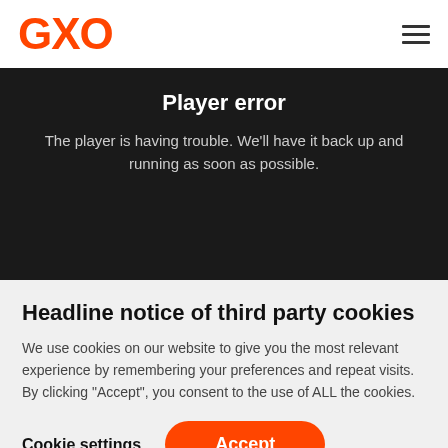GXO
Player error
The player is having trouble. We'll have it back up and running as soon as possible.
Headline notice of third party cookies
We use cookies on our website to give you the most relevant experience by remembering your preferences and repeat visits. By clicking “Accept”, you consent to the use of ALL the cookies.
Cookie settings  Accept